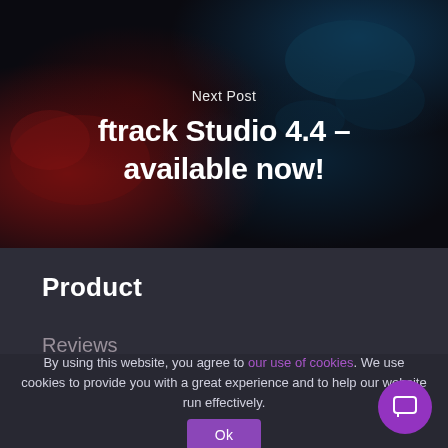[Figure (screenshot): Dark artistic background image with red and teal/blue paint swirl textures on a near-black background, used as hero section backdrop]
Next Post
ftrack Studio 4.4 – available now!
Product
Reviews
By using this website, you agree to our use of cookies. We use cookies to provide you with a great experience and to help our website run effectively.
Ok